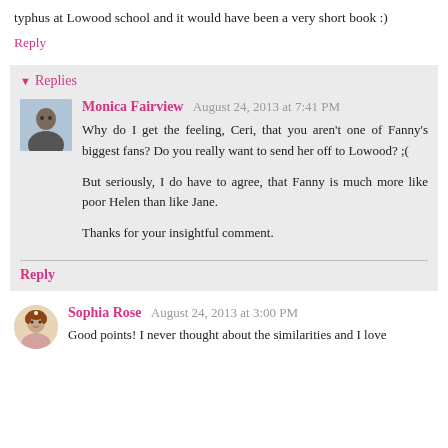typhus at Lowood school and it would have been a very short book :)
Reply
Replies
Monica Fairview  August 24, 2013 at 7:41 PM
Why do I get the feeling, Ceri, that you aren't one of Fanny's biggest fans? Do you really want to send her off to Lowood? ;(

But seriously, I do have to agree, that Fanny is much more like poor Helen than like Jane.

Thanks for your insightful comment.
Reply
Sophia Rose  August 24, 2013 at 3:00 PM
Good points! I never thought about the similarities and I love